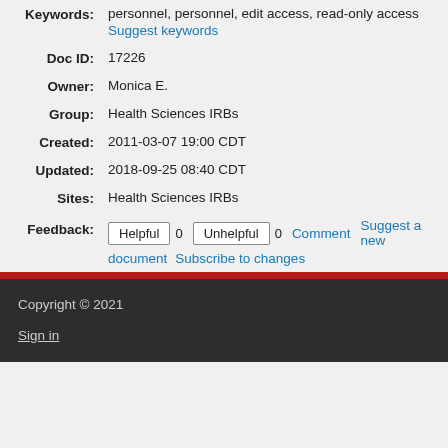Keywords: personnel, personnel, edit access, read-only access
Suggest keywords
Doc ID: 17226
Owner: Monica E.
Group: Health Sciences IRBs
Created: 2011-03-07 19:00 CDT
Updated: 2018-09-25 08:40 CDT
Sites: Health Sciences IRBs
Feedback: Helpful 0 Unhelpful 0 Comment Suggest a new document Subscribe to changes
Copyright © 2021
Sign in